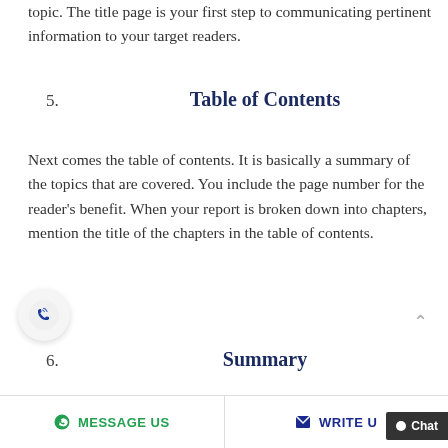topic. The title page is your first step to communicating pertinent information to your target readers.
5.   Table of Contents
Next comes the table of contents. It is basically a summary of the topics that are covered. You include the page number for the reader's benefit. When your report is broken down into chapters, mention the title of the chapters in the table of contents.
6.   Summary
A summary works as a preface to your business repor…
MESSAGE US   WRITE US   Chat